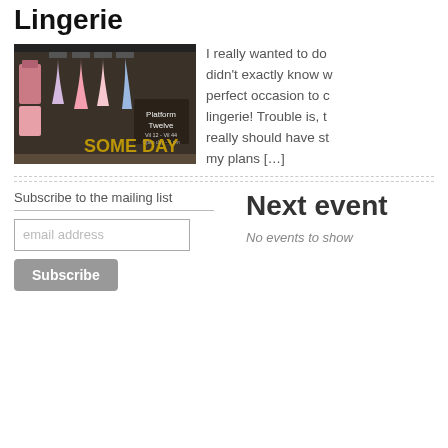Lingerie
[Figure (photo): Shop window display of lingerie and clothing items at Platform Twelve store]
I really wanted to do didn't exactly know w perfect occasion to c lingerie! Trouble is, t really should have st my plans [...]
Subscribe to the mailing list
Next event
No events to show